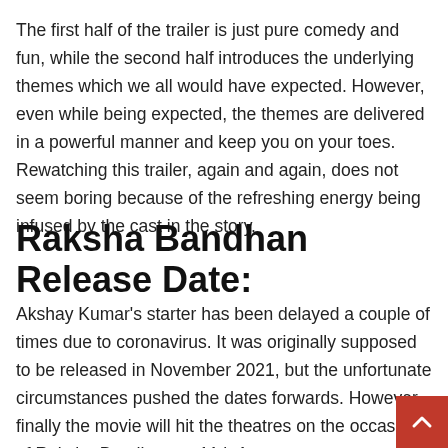The first half of the trailer is just pure comedy and fun, while the second half introduces the underlying themes which we all would have expected. However, even while being expected, the themes are delivered in a powerful manner and keep you on your toes. Rewatching this trailer, again and again, does not seem boring because of the refreshing energy being infused by the cast in the story.
Raksha Bandhan Release Date:
Akshay Kumar's starter has been delayed a couple of times due to coronavirus. It was originally supposed to be released in November 2021, but the unfortunate circumstances pushed the dates forwards. However, finally the movie will hit the theatres on the occasion of Raksha Bandhan on 11th August